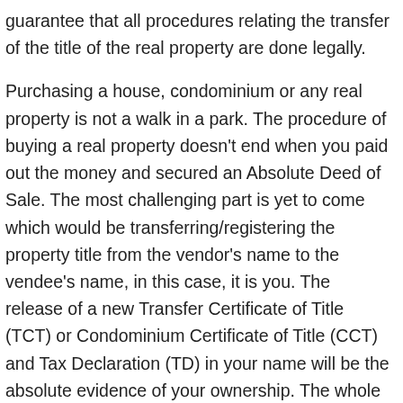guarantee that all procedures relating the transfer of the title of the real property are done legally.
Purchasing a house, condominium or any real property is not a walk in a park. The procedure of buying a real property doesn't end when you paid out the money and secured an Absolute Deed of Sale. The most challenging part is yet to come which would be transferring/registering the property title from the vendor's name to the vendee's name, in this case, it is you. The release of a new Transfer Certificate of Title (TCT) or Condominium Certificate of Title (CCT) and Tax Declaration (TD) in your name will be the absolute evidence of your ownership. The whole process requires legal knowledge, common sense and most of all patience.